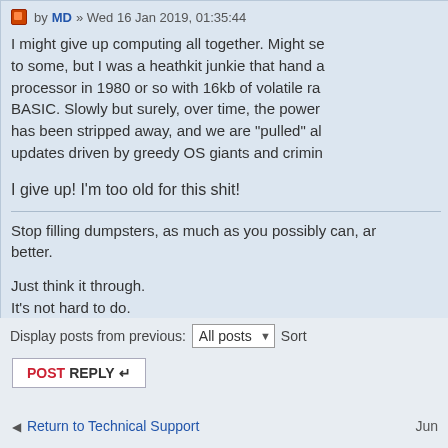by MD » Wed 16 Jan 2019, 01:35:44
I might give up computing all together. Might se to some, but I was a heathkit junkie that hand a processor in 1980 or so with 16kb of volatile ra BASIC. Slowly but surely, over time, the power has been stripped away, and we are "pulled" al updates driven by greedy OS giants and crimin
I give up! I'm too old for this shit!
Stop filling dumpsters, as much as you possibly can, an better.

Just think it through.
It's not hard to do.
Display posts from previous: All posts Sort
POSTREPLY
Return to Technical Support